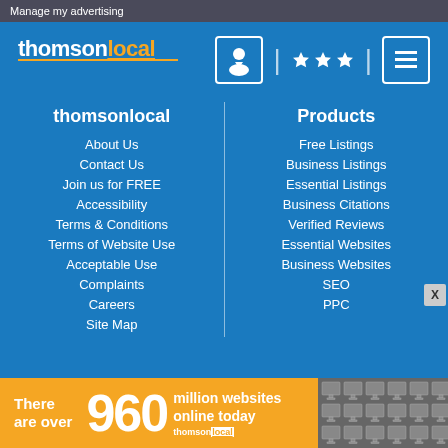Manage my advertising
[Figure (logo): thomsonlocal logo in white and orange text]
[Figure (infographic): Navigation icons: person/location pin icon, three stars rating icon, hamburger menu icon separated by vertical dividers]
thomsonlocal
About Us
Contact Us
Join us for FREE
Accessibility
Terms & Conditions
Terms of Website Use
Acceptable Use
Complaints
Careers
Site Map
Products
Free Listings
Business Listings
Essential Listings
Business Citations
Verified Reviews
Essential Websites
Business Websites
SEO
PPC
There are over 960 million websites online today